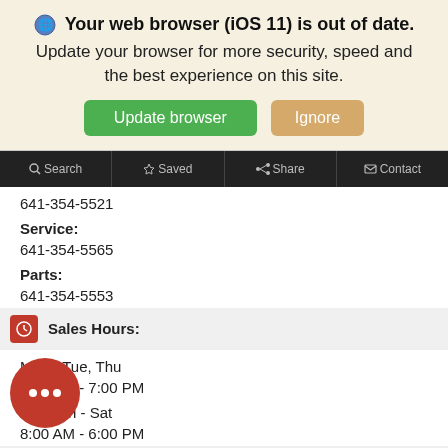🌐 Your web browser (iOS 11) is out of date. Update your browser for more security, speed and the best experience on this site.
Update browser | Ignore
Search | Saved | Share | Contact
641-354-5521
Service:
641-354-5565
Parts:
641-354-5553
Sales Hours:
Mon - Tue, Thu
8:00 AM - 7:00 PM
Wed, Fri - Sat
8:00 AM - 6:00 PM
Service Hours:
Mon - Fri